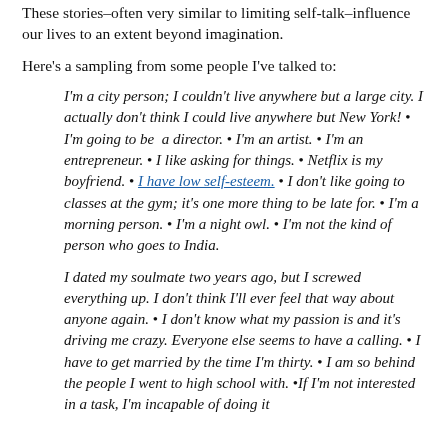These stories–often very similar to limiting self-talk–influence our lives to an extent beyond imagination.
Here's a sampling from some people I've talked to:
I'm a city person; I couldn't live anywhere but a large city. I actually don't think I could live anywhere but New York! • I'm going to be a director. • I'm an artist. • I'm an entrepreneur. • I like asking for things. • Netflix is my boyfriend. • I have low self-esteem. • I don't like going to classes at the gym; it's one more thing to be late for. • I'm a morning person. • I'm a night owl. • I'm not the kind of person who goes to India.
I dated my soulmate two years ago, but I screwed everything up. I don't think I'll ever feel that way about anyone again. • I don't know what my passion is and it's driving me crazy. Everyone else seems to have a calling. • I have to get married by the time I'm thirty. • I am so behind the people I went to high school with. • If I'm not interested in a task, I'm incapable of doing it